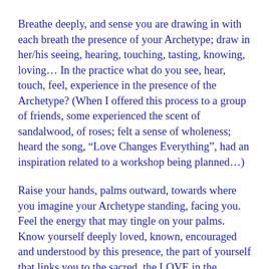Breathe deeply, and sense you are drawing in with each breath the presence of your Archetype; draw in her/his seeing, hearing, touching, tasting, knowing, loving… In the practice what do you see, hear, touch, feel, experience in the presence of the Archetype? (When I offered this process to a group of friends, some experienced the scent of sandalwood, of roses; felt a sense of wholeness; heard the song, “Love Changes Everything”, had an inspiration related to a workshop being planned…)
Raise your hands, palms outward, towards where you imagine your Archetype standing, facing you. Feel the energy that may tingle on your palms. Know yourself deeply loved, known, encouraged and understood by this presence, the part of yourself that links you to the sacred, the LOVE in the Universe.